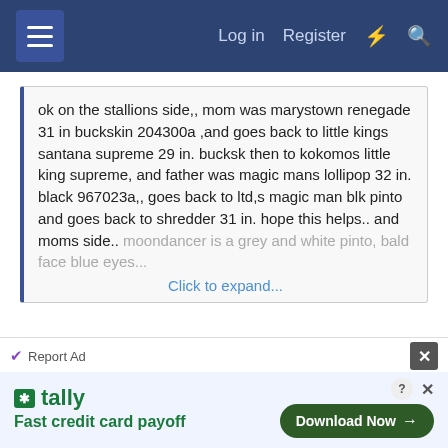≡  Log in  Register  ⚡  🔍
ok on the stallions side,, mom was marystown renegade 31 in buckskin 204300a ,and goes back to little kings santana supreme 29 in. bucksk then to kokomos little king supreme, and father was magic mans lollipop 32 in. black 967023a,, goes back to ltd,s magic man blk pinto and goes back to shredder 31 in. hope this helps.. and moms side.. moondancer is a grey and white pinto, bald face blue eyes... Click to expand...
I know the Santana Supreme line as many of my horses are his daughters as is Windchaser his son. Renegade's dam was Lucky Girl, a big chestnut mare. Who is the dam of a mare I own, Lukcy Cheese(by Boones Little Andy). So your filly could get the dilute gene from dad, (you said that dad was a buckskin)and
[Figure (screenshot): Advertisement banner: Tally - Fast credit card payoff, with Download Now button]